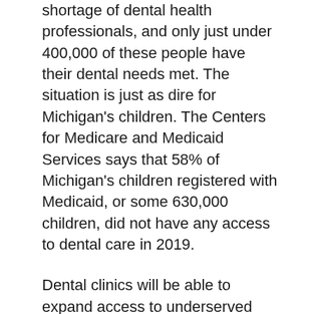shortage of dental health professionals, and only just under 400,000 of these people have their dental needs met. The situation is just as dire for Michigan's children. The Centers for Medicare and Medicaid Services says that 58% of Michigan's children registered with Medicaid, or some 630,000 children, did not have any access to dental care in 2019.
Dental clinics will be able to expand access to underserved communities by utilizing existing personnel in a broader range of services. So, for instance, if you were to visit a dentist in Saginaw MI, you might now be served by a dental therapist, licensed to provide essential preventive and restorative treatments. It is hoped that federally qualified health centers will be able to take on more Medicaid or uninsured